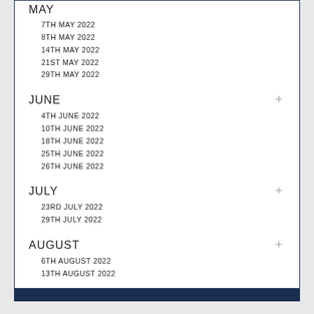MAY
7TH MAY 2022
8TH MAY 2022
14TH MAY 2022
21ST MAY 2022
29TH MAY 2022
JUNE
4TH JUNE 2022
10TH JUNE 2022
18TH JUNE 2022
25TH JUNE 2022
26TH JUNE 2022
JULY
23RD JULY 2022
29TH JULY 2022
AUGUST
6TH AUGUST 2022
13TH AUGUST 2022